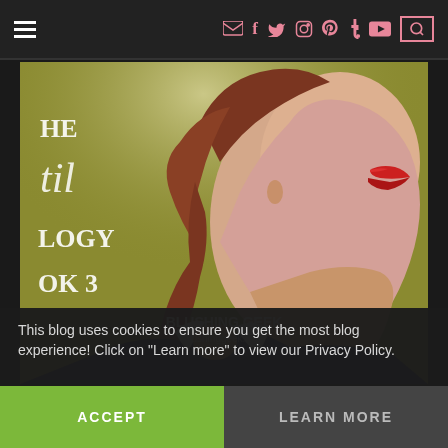☰  ✉ f 🐦 📷 𝗣 t You▶ 🔍
[Figure (photo): Book cover showing a close-up of a woman's face with red lips in profile, against a yellow-green background. Text on the left reads 'HE', 'til', 'LOGY', 'OK 3'. Watermark reads 'BLUSHING GEEK blushinggeek.com']
This blog uses cookies to ensure you get the most blog experience! Click on "Learn more" to view our Privacy Policy.
ACCEPT
LEARN MORE